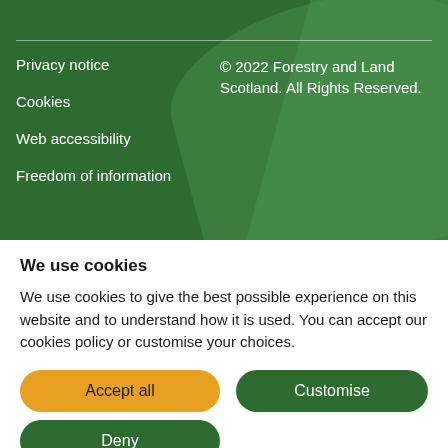Privacy notice
Cookies
Web accessibility
Freedom of information
© 2022 Forestry and Land Scotland. All Rights Reserved.
We use cookies
We use cookies to give the best possible experience on this website and to understand how it is used. You can accept our cookies policy or customise your choices.
Accept all
Customise
Deny